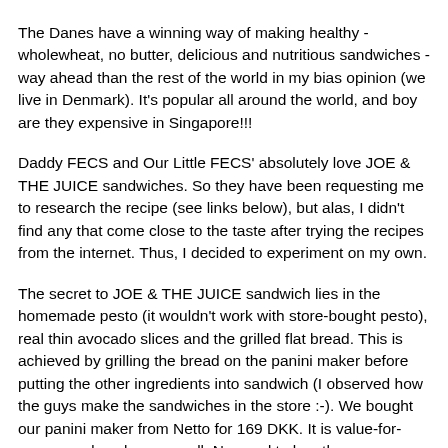The Danes have a winning way of making healthy - wholewheat, no butter, delicious and nutritious sandwiches - way ahead than the rest of the world in my bias opinion (we live in Denmark). It's popular all around the world, and boy are they expensive in Singapore!!!
Daddy FECS and Our Little FECS' absolutely love JOE & THE JUICE sandwiches. So they have been requesting me to research the recipe (see links below), but alas, I didn't find any that come close to the taste after trying the recipes from the internet. Thus, I decided to experiment on my own.
The secret to JOE & THE JUICE sandwich lies in the homemade pesto (it wouldn't work with store-bought pesto), real thin avocado slices and the grilled flat bread. This is achieved by grilling the bread on the panini maker before putting the other ingredients into sandwich (I observed how the guys make the sandwiches in the store :-). We bought our panini maker from Netto for 169 DKK. It is value-for-money and works very well. No need to buy those expensive ones. There is a even cheaper one from Føtex that costs 100 DKK. We have a conversation with that to the health and think